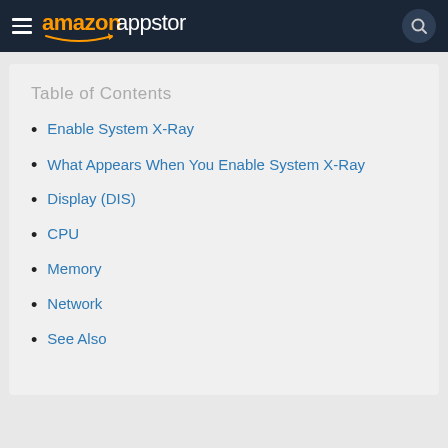amazon appstore
Table of Contents
Enable System X-Ray
What Appears When You Enable System X-Ray
Display (DIS)
CPU
Memory
Network
See Also